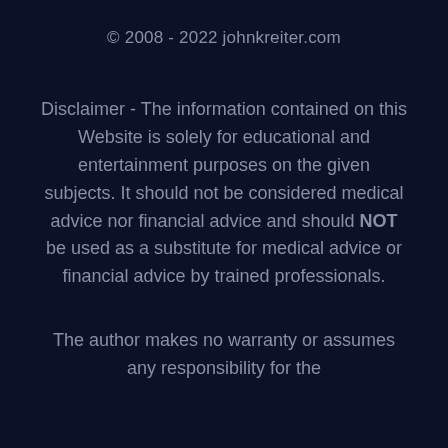© 2008 - 2022 johnkreiter.com
Disclaimer - The information contained on this Website is solely for educational and entertainment purposes on the given subjects. It should not be considered medical advice nor financial advice and should NOT be used as a substitute for medical advice or financial advice by trained professionals.
The author makes no warranty or assumes any responsibility for the